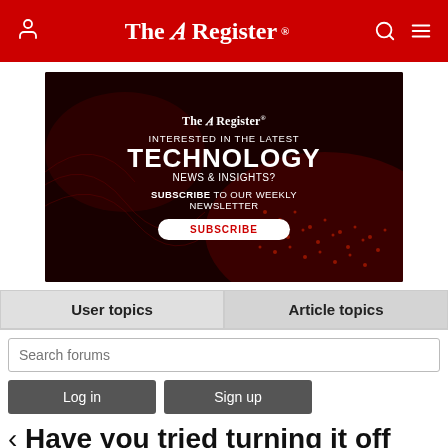The Register
[Figure (infographic): The Register advertisement banner: dark red background with glowing circuit board imagery. Text reads: The Register logo, INTERESTED IN THE LATEST TECHNOLOGY NEWS & INSIGHTS? SUBSCRIBE TO OUR WEEKLY NEWSLETTER, with a SUBSCRIBE button.]
User topics | Article topics
Search forums
Log in   Sign up
< Have you tried turning it off